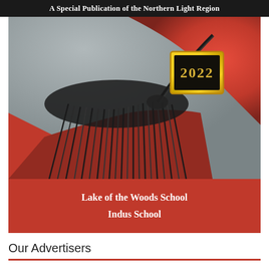A Special Publication of the Northern Light Region
[Figure (photo): Close-up photograph of a 2022 graduation cap tassel with black strands and a gold charm reading '2022', resting on red graduation gown fabric]
Lake of the Woods School
Indus School
Our Advertisers